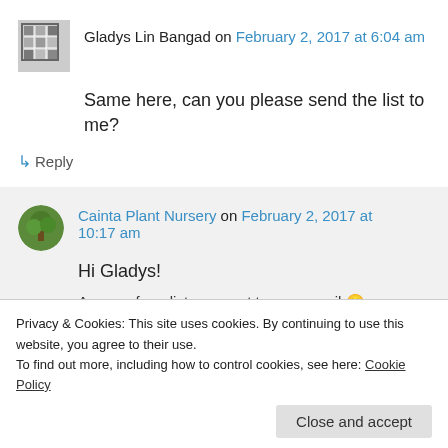Gladys Lin Bangad on February 2, 2017 at 6:04 am
Same here, can you please send the list to me?
↳ Reply
Cainta Plant Nursery on February 2, 2017 at 10:17 am
Hi Gladys!
A copy of our list was sent to your email 🙂
Privacy & Cookies: This site uses cookies. By continuing to use this website, you agree to their use.
To find out more, including how to control cookies, see here: Cookie Policy